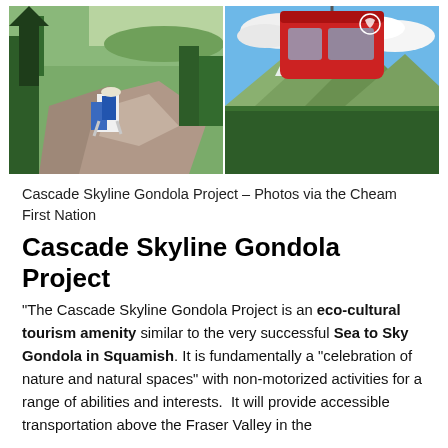[Figure (photo): Two photos side by side: left shows a hiker with a blue backpack sitting on a rocky ledge with a forested mountain valley below; right shows a red gondola cabin suspended in the air against a background of snow-capped mountains and blue sky.]
Cascade Skyline Gondola Project – Photos via the Cheam First Nation
Cascade Skyline Gondola Project
“The Cascade Skyline Gondola Project is an eco-cultural tourism amenity similar to the very successful Sea to Sky Gondola in Squamish. It is fundamentally a “celebration of nature and natural spaces” with non-motorized activities for a range of abilities and interests.  It will provide accessible transportation above the Fraser Valley in the